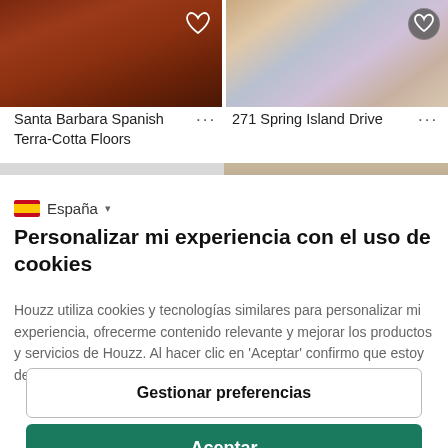[Figure (photo): Dark reddish-brown terra cotta tile floor photographed from above]
[Figure (photo): Mosaic and decorative tile flooring with mixed colors photographed from above]
Santa Barbara Spanish Terra-Cotta Floors
271 Spring Island Drive
España
Personalizar mi experiencia con el uso de cookies
Houzz utiliza cookies y tecnologías similares para personalizar mi experiencia, ofrecerme contenido relevante y mejorar los productos y servicios de Houzz. Al hacer clic en 'Aceptar' confirmo que estoy de acuerdo con lo antes expuesto, como se
Gestionar preferencias
Aceptar